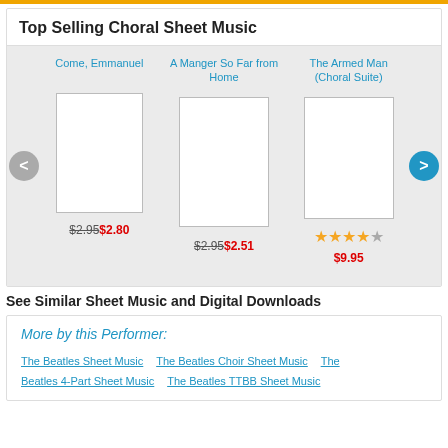Top Selling Choral Sheet Music
[Figure (other): Carousel of top selling choral sheet music products: Come Emmanuel ($2.95 crossed out, $2.80), A Manger So Far from Home ($2.95 crossed out, $2.51), The Armed Man (Choral Suite) with 4-star rating at $9.95]
See Similar Sheet Music and Digital Downloads
More by this Performer:
The Beatles Sheet Music
The Beatles Choir Sheet Music
The Beatles 4-Part Sheet Music
The Beatles TTBB Sheet Music